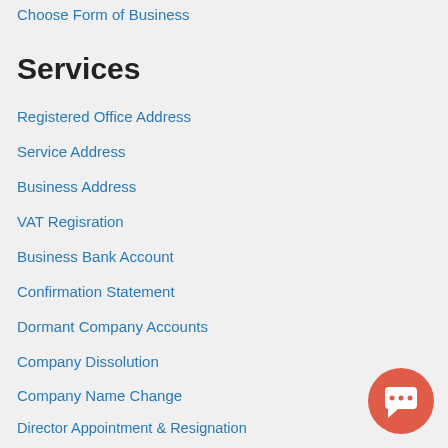Choose Form of Business
Services
Registered Office Address
Service Address
Business Address
VAT Regisration
Business Bank Account
Confirmation Statement
Dormant Company Accounts
Company Dissolution
Company Name Change
Director Appointment & Resignation
Share Services
[Figure (illustration): Chat support button icon (speech bubble on coral/red circle background)]